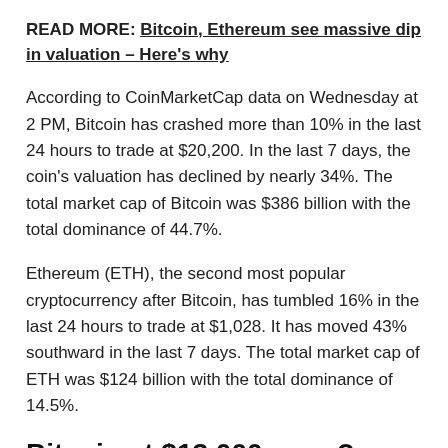READ MORE: Bitcoin, Ethereum see massive dip in valuation – Here's why
According to CoinMarketCap data on Wednesday at 2 PM, Bitcoin has crashed more than 10% in the last 24 hours to trade at $20,200. In the last 7 days, the coin's valuation has declined by nearly 34%. The total market cap of Bitcoin was $386 billion with the total dominance of 44.7%.
Ethereum (ETH), the second most popular cryptocurrency after Bitcoin, has tumbled 16% in the last 24 hours to trade at $1,028. It has moved 43% southward in the last 7 days. The total market cap of ETH was $124 billion with the total dominance of 14.5%.
Bitcoin at $13,000 soon?
Abhijit Shukla, CEO and Director, Tarality, said that BTC could test the $19,400 level and if liquidation continues it can also